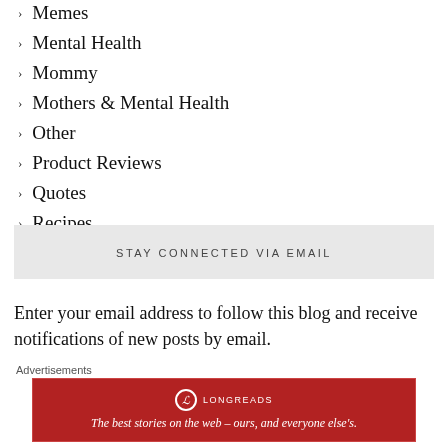Memes
Mental Health
Mommy
Mothers & Mental Health
Other
Product Reviews
Quotes
Recipes
STAY CONNECTED VIA EMAIL
Enter your email address to follow this blog and receive notifications of new posts by email.
Enter your email address
Advertisements
LONGREADS
The best stories on the web — ours, and everyone else's.